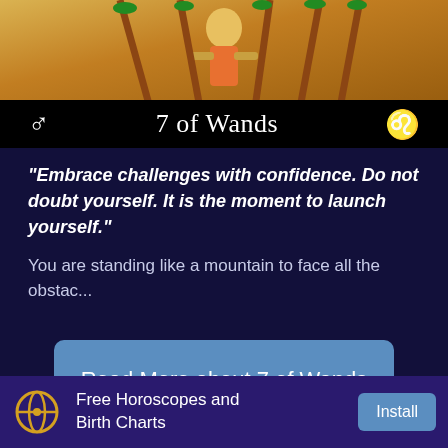[Figure (illustration): Tarot card image showing the 7 of Wands with astrological symbols for Mars (male symbol) and Leo on a black background bar beneath the card art.]
“Embrace challenges with confidence. Do not doubt yourself. It is the moment to launch yourself.”
You are standing like a mountain to face all the obstac...
Read More about 7 of Wands
PROFESSIONAL READINGS
Free Horoscopes and Birth Charts
Install